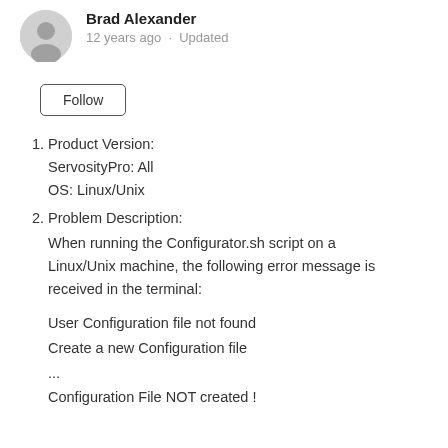Brad Alexander
12 years ago · Updated
Follow
1. Product Version:
ServosityPro: All
OS: Linux/Unix
2. Problem Description:
When running the Configurator.sh script on a Linux/Unix machine, the following error message is received in the terminal:
User Configuration file not found
Create a new Configuration file
...
Configuration File NOT created !